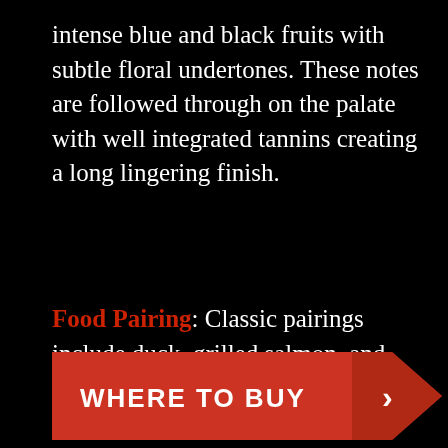intense blue and black fruits with subtle floral undertones. These notes are followed through on the palate with well integrated tannins creating a long lingering finish.
Food Pairing: Classic pairings include duck, grilled salmon, and mushrooms. Also, try with your favourite BBQ and game meats.
[Figure (other): Red button with 'WHERE TO BUY' text and a right-pointing chevron/arrow, on black background]